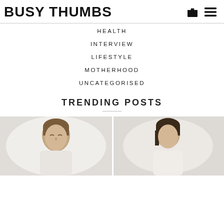BUSY THUMBS
HEALTH
INTERVIEW
LIFESTYLE
MOTHERHOOD
UNCATEGORISED
TRENDING POSTS
[Figure (photo): Two people in a lifestyle/health scene, man with eyes closed and a woman beside him, light background]